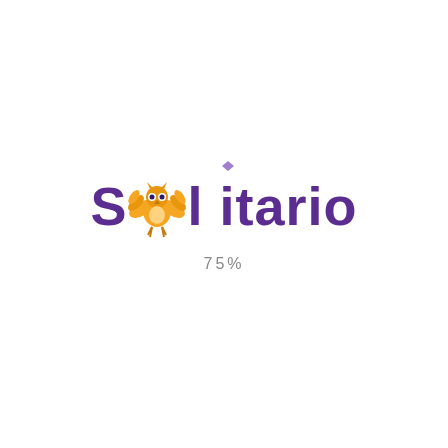[Figure (logo): Solitario brand logo with golden winged owl emblem replacing the letter 'o', purple text reading 'Solitario', and a small purple diamond above the letter 'i']
75%